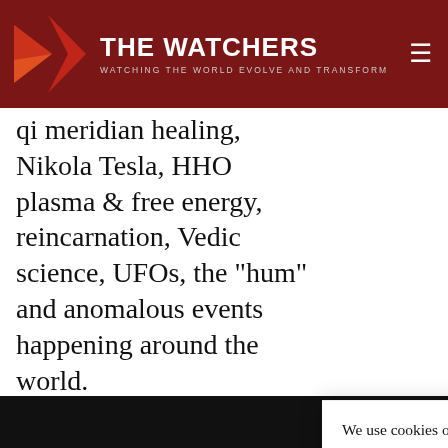THE WATCHERS — WATCHING THE WORLD EVOLVE AND TRANSFORM
qi meridian healing, Nikola Tesla, HHO plasma & free energy, reincarnation, Vedic science, UFOs, the "hum" and anomalous events happening around the world.
Main Page: h[truncated link]
Spanish (lim[ited] http://www.r[truncated]
Email: http:/ [truncated] resonance.or[truncated]
We use cookies on our website to give you the most relevant experience by remembering your preferences and repeat visits. By clicking “Accept”, you consent to the use of ALL the cookies.
Do not sell my personal information.
Cookie settings  Accept